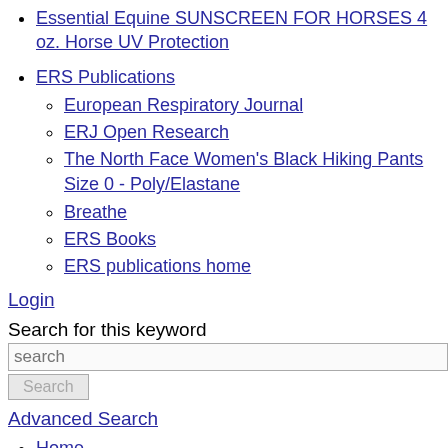Essential Equine SUNSCREEN FOR HORSES 4 oz. Horse UV Protection
ERS Publications
European Respiratory Journal
ERJ Open Research
The North Face Women's Black Hiking Pants Size 0 - Poly/Elastane
Breathe
ERS Books
ERS publications home
Login
Search for this keyword
Home
Current issue
Past issues
Authors/reviewers
Instructions for authors